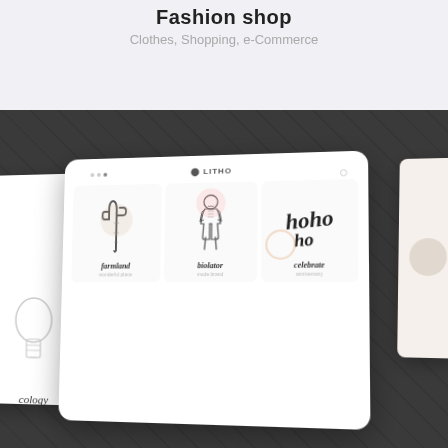Fashion shop
Clothes, Shopping, e-Commerce
[Figure (screenshot): A mockup showing tablet devices on a dark wooden textured background. The main center tablet displays a website (LITHO) with a product grid featuring logos/illustrations: 'farmland' (cactus illustration), 'biolator' (vintage man illustration), 'celebrate' (hoho script lettering). Two partial tablets are visible on the left and right edges.]